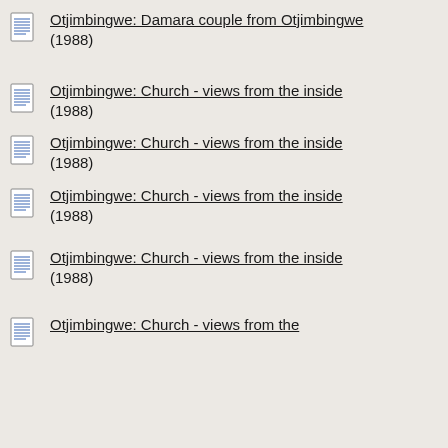Otjimbingwe: Damara couple from Otjimbingwe (1988)
Otjimbingwe: Church - views from the inside (1988)
Otjimbingwe: Church - views from the inside (1988)
Otjimbingwe: Church - views from the inside (1988)
Otjimbingwe: Church - views from the inside (1988)
Otjimbingwe: Church - views from the inside (1988)